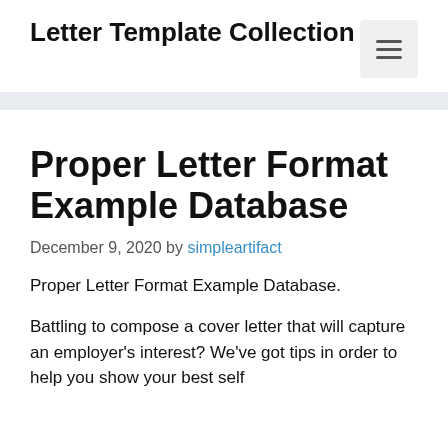Letter Template Collection
Proper Letter Format Example Database
December 9, 2020 by simpleartifact
Proper Letter Format Example Database.
Battling to compose a cover letter that will capture an employer's interest? We've got tips in order to help you show your best self